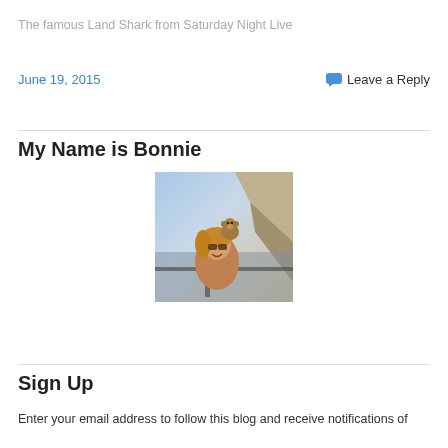The famous Land Shark from Saturday Night Live
June 19, 2015
Leave a Reply
My Name is Bonnie
[Figure (photo): A woman smiling with a monkey on her shoulder, outdoors with a cityscape and rocky hillside in the background.]
Sign Up
Enter your email address to follow this blog and receive notifications of